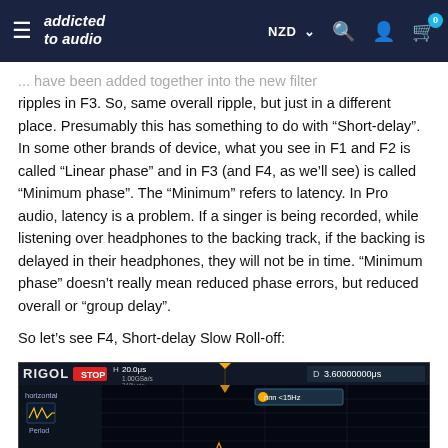addicted to audio  NZD  [search] [account] [cart]
... have been added together into the new filter ripples in F3. So, same overall ripple, but just in a different place. Presumably this has something to do with “Short-delay”. In some other brands of device, what you see in F1 and F2 is called “Linear phase” and in F3 (and F4, as we’ll see) is called “Minimum phase”. The “Minimum” refers to latency. In Pro audio, latency is a problem. If a singer is being recorded, while listening over headphones to the backing track, if the backing is delayed in their headphones, they will not be in time. “Minimum phase” doesn’t really mean reduced phase errors, but reduced overall or “group delay”.
So let’s see F4, Short-delay Slow Roll-off:
[Figure (screenshot): Rigol oscilloscope screenshot showing STOP mode, H 20.0us, 1.00GSa/s, 240k pts, D 3.60000000us, with horizontal period measurement panel visible and a waveform beginning to appear at the bottom of the screen. A measurement label shows nnn < 15Hz.]